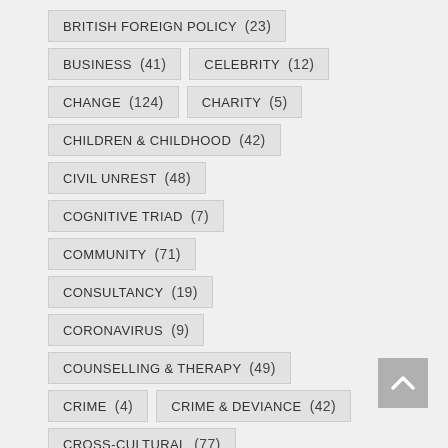BRITISH FOREIGN POLICY (23)
BUSINESS (41)
CELEBRITY (12)
CHANGE (124)
CHARITY (5)
CHILDREN & CHILDHOOD (42)
CIVIL UNREST (48)
COGNITIVE TRIAD (7)
COMMUNITY (71)
CONSULTANCY (19)
CORONAVIRUS (9)
COUNSELLING & THERAPY (49)
CRIME (4)
CRIME & DEVIANCE (42)
CROSS-CULTURAL (77)